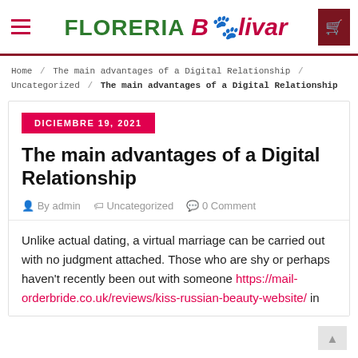[Figure (logo): Floreria Bolivar logo with hamburger menu icon on left and shopping cart button on right]
Home / The main advantages of a Digital Relationship / Uncategorized / The main advantages of a Digital Relationship
DICIEMBRE 19, 2021
The main advantages of a Digital Relationship
By admin   Uncategorized   0 Comment
Unlike actual dating, a virtual marriage can be carried out with no judgment attached. Those who are shy or perhaps haven’t recently been out with someone https://mail-orderbride.co.uk/reviews/kiss-russian-beauty-website/ in